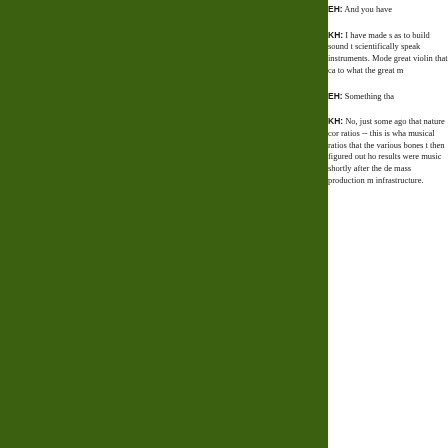[Figure (photo): Large green rectangular panel occupying the left side of the page]
EH: And you have
KH: I have made s as to build sound t scientifically speak instruments. Mode great violin that ca to what the great m
EH: Something tha
KH: No, just some ago that nature cor ratios -- this is wha musical ratios that the various bones t then figured out ho results were music shortly after the de mass production m infrastructure.